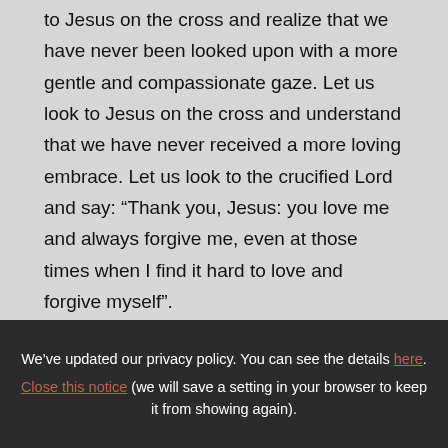to Jesus on the cross and realize that we have never been looked upon with a more gentle and compassionate gaze. Let us look to Jesus on the cross and understand that we have never received a more loving embrace. Let us look to the crucified Lord and say: “Thank you, Jesus: you love me and always forgive me, even at those times when I find it hard to love and forgive myself”. There, as he was being crucified, at the height
We’ve updated our privacy policy. You can see the details here. Close this notice (we will save a setting in your browser to keep it from showing again).